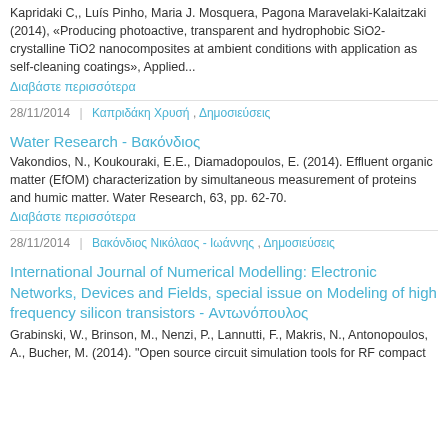Kapridaki C,, Luís Pinho, Maria J. Mosquera, Pagona Maravelaki-Kalaitzaki (2014), «Producing photoactive, transparent and hydrophobic SiO2-crystalline TiO2 nanocomposites at ambient conditions with application as self-cleaning coatings», Applied...
Διαβάστε περισσότερα
28/11/2014 | Καπριδάκη Χρυσή , Δημοσιεύσεις
Water Research - Βακόνδιος
Vakondios, N., Koukouraki, E.E., Diamadopoulos, E. (2014). Effluent organic matter (EfOM) characterization by simultaneous measurement of proteins and humic matter. Water Research, 63, pp. 62-70.
Διαβάστε περισσότερα
28/11/2014 | Βακόνδιος Νικόλαος - Ιωάννης , Δημοσιεύσεις
International Journal of Numerical Modelling: Electronic Networks, Devices and Fields, special issue on Modeling of high frequency silicon transistors - Αντωνόπουλος
Grabinski, W., Brinson, M., Nenzi, P., Lannutti, F., Makris, N., Antonopoulos, A., Bucher, M. (2014). "Open source circuit simulation tools for RF compact